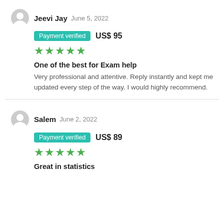Jeevi Jay June 5, 2022
Payment verified US$ 95
★★★★★
One of the best for Exam help
Very professional and attentive. Reply instantly and kept me updated every step of the way. I would highly recommend.
Salem June 2, 2022
Payment verified US$ 89
★★★★★
Great in statistics